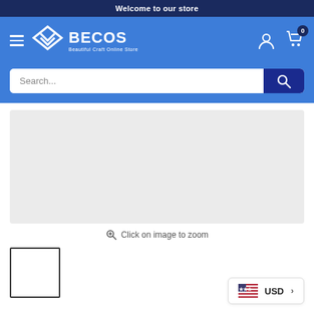Welcome to our store
[Figure (logo): BECOS Beautiful Craft Online Store logo with diamond/chevron icon in white on blue background]
Search...
[Figure (screenshot): Light grey product image placeholder area]
Click on image to zoom
[Figure (photo): Small product thumbnail with black border outline]
USD